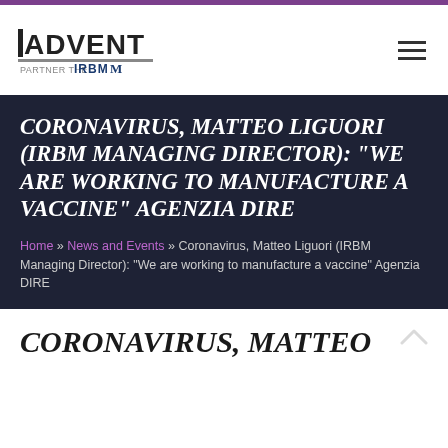[Figure (logo): ADVENT partner IRBM logo in top left header area]
CORONAVIRUS, MATTEO LIGUORI (IRBM MANAGING DIRECTOR): “WE ARE WORKING TO MANUFACTURE A VACCINE” AGENZIA DIRE
Home » News and Events » Coronavirus, Matteo Liguori (IRBM Managing Director): “We are working to manufacture a vaccine” Agenzia DIRE
CORONAVIRUS, MATTEO